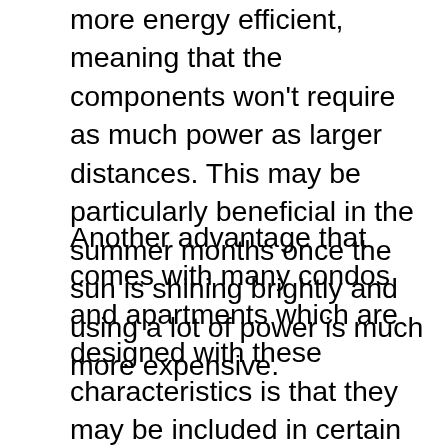more energy efficient, meaning that the components won't require as much power as larger distances. This may be particularly beneficial in the summer months once the sun is shining brightly and using a lot of power is much more expensive.
Another advantage that comes with many condos and apartments which are designed with these characteristics is that they may be included in certain housing development programs. Since there are so many different housing developments being built, programmers tend to be interested in putting affordable housing units into these jobs. Sometimes, there are housing improvements that are designed specifically for those who have selected to lease a compact dwelling